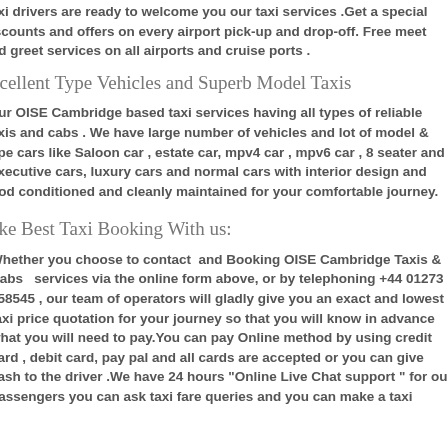taxi drivers are ready to welcome you our taxi services .Get a special discounts and offers on every airport pick-up and drop-off. Free meet and greet services on all airports and cruise ports .
Excellent Type Vehicles and Superb Model Taxis
Our OISE Cambridge based taxi services having all types of reliable taxis and cabs . We have large number of vehicles and lot of model & type cars like Saloon car , estate car, mpv4 car , mpv6 car , 8 seater and executive cars, luxury cars and normal cars with interior design and good conditioned and cleanly maintained for your comfortable journey.
Make Best Taxi Booking With us:
Whether you choose to contact  and Booking OISE Cambridge Taxis & Cabs  services via the online form above, or by telephoning +44 01273 558545 , our team of operators will gladly give you an exact and lowest taxi price quotation for your journey so that you will know in advance what you will need to pay.You can pay Online method by using credit card , debit card, pay pal and all cards are accepted or you can give cash to the driver .We have 24 hours "Online Live Chat support " for our passengers you can ask taxi fare queries and you can make a taxi